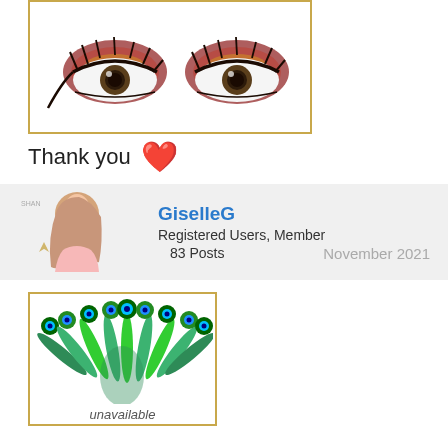[Figure (illustration): Two illustrated stylized eyes with dramatic makeup (red/brown eyeshadow, long lashes) inside a gold-bordered card frame, partially cropped at top]
Thank you ❤️
GiselleG
Registered Users, Member
83 Posts
November 2021
[Figure (illustration): Peacock feathers fan illustration inside a gold-bordered card, with 'unavailable' text partially visible at bottom]